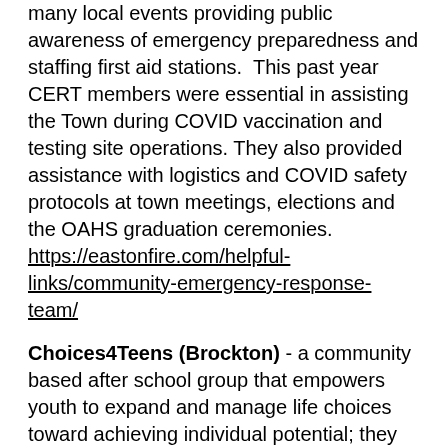many local events providing public awareness of emergency preparedness and staffing first aid stations.  This past year CERT members were essential in assisting the Town during COVID vaccination and testing site operations. They also provided assistance with logistics and COVID safety protocols at town meetings, elections and the OAHS graduation ceremonies. https://eastonfire.com/helpful-links/community-emergency-response-team/
Choices4Teens (Brockton) - a community based after school group that empowers youth to expand and manage life choices toward achieving individual potential; they provide a reality and evidence-based curriculum for middle school age youth to address various topics and issues related to drugs, gangs, and violence prevention www.choices4teens.org